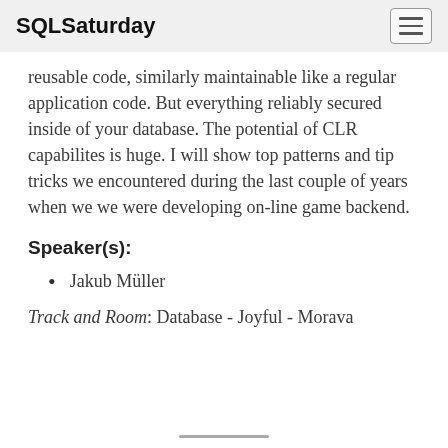SQLSaturday
reusable code, similarly maintainable like a regular application code. But everything reliably secured inside of your database. The potential of CLR capabilites is huge. I will show top patterns and tip tricks we encountered during the last couple of years when we we were developing on-line game backend.
Speaker(s):
Jakub Müller
Track and Room: Database - Joyful - Morava